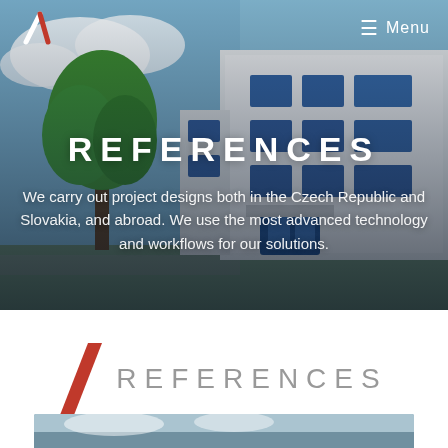[Figure (photo): Exterior photo of a modern white commercial/industrial building with blue-framed windows, a large green tree on the left, blue sky with clouds. Used as hero banner background.]
≡ Menu
REFERENCES
We carry out project designs both in the Czech Republic and Slovakia, and abroad. We use the most advanced technology and workflows for our solutions.
REFERENCES